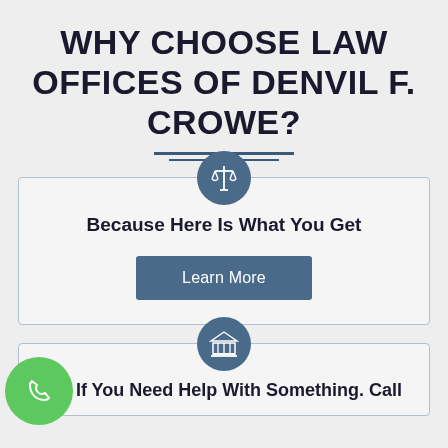WHY CHOOSE LAW OFFICES OF DENVIL F. CROWE?
[Figure (infographic): Card with scales of justice icon circle in steel blue and a bordered box containing the text 'Because Here Is What You Get' and a 'Learn More' button]
Because Here Is What You Get
Learn More
[Figure (infographic): Card with courthouse/bank icon circle in steel blue, a green phone circle icon on the left, and text 'If You Need Help With Something. Call']
If You Need Help With Something. Call